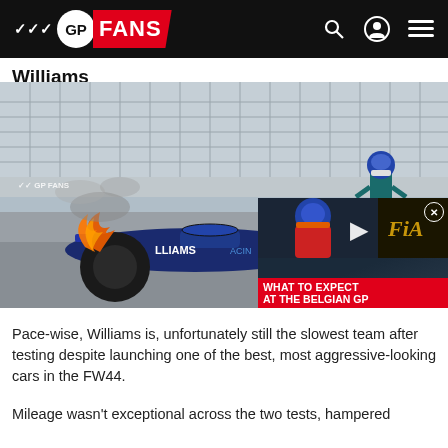GP FANS
Williams
[Figure (photo): Williams FW44 F1 car on fire during testing, with a driver in teal/black race suit walking away in the background. An overlaid video thumbnail shows a Red Bull driver and reads 'WHAT TO EXPECT AT THE BELGIAN GP' with FIA logo.]
Pace-wise, Williams is, unfortunately still the slowest team after testing despite launching one of the best, most aggressive-looking cars in the FW44.
Mileage wasn't exceptional across the two tests, hampered